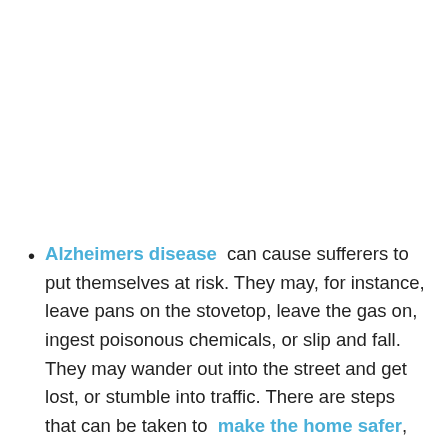Alzheimers disease can cause sufferers to put themselves at risk. They may, for instance, leave pans on the stovetop, leave the gas on, ingest poisonous chemicals, or slip and fall. They may wander out into the street and get lost, or stumble into traffic. There are steps that can be taken to make the home safer, but at some point, you may feel that your loved one would be more secure in a nursing home.